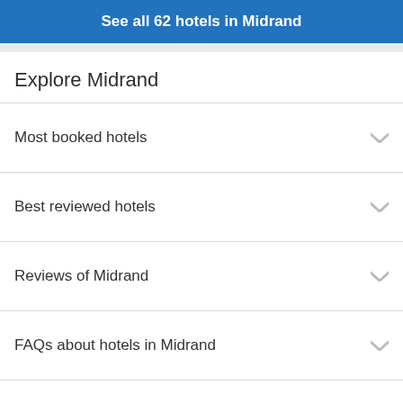See all 62 hotels in Midrand
Explore Midrand
Most booked hotels
Best reviewed hotels
Reviews of Midrand
FAQs about hotels in Midrand
More cities nearby